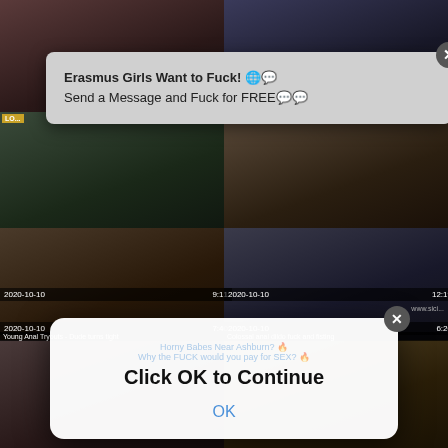[Figure (screenshot): Adult video website screenshot showing a grid of video thumbnails with timestamps and titles, overlaid with two advertisement popups]
2020-10-10   9:11
2020-10-10   12:19
2020-10-10   7:40
Young Anal Tryouts - Dude turns tight
2020-10-10   6:20
Colossal anal dildo fuck and fisting
Erasmus Girls Want to Fuck! 🌐💬
Send a Message and Fuck for FREE💬💬
Horny Babes Near Ashburn? 🔥
Why the FUCK would you pay for SEX? 🔥
Click OK to Continue
OK